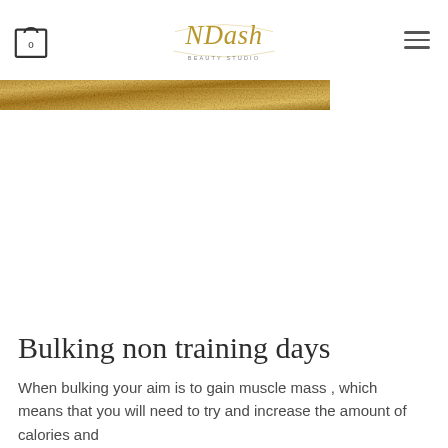NDash Beauty Studio — navigation header with shopping bag icon and hamburger menu
[Figure (photo): Gold/bronze textured metallic banner strip spanning left portion of page]
Bulking non training days
When bulking your aim is to gain muscle mass , which means that you will need to try and increase the amount of calories and